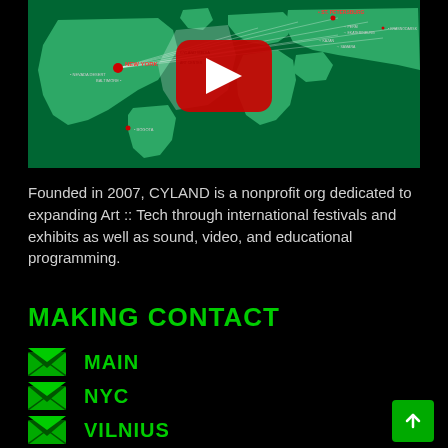[Figure (map): World map in green and white showing network connections between cities including New York, Nevada Desert, Baltimore, Bogota, St. Petersburg, Perm, Ekaterinburg, Krasnodarsk, Samara, Kazan. A YouTube play button overlay is visible in the center of the map.]
Founded in 2007, CYLAND is a nonprofit org dedicated to expanding Art :: Tech through international festivals and exhibits as well as sound, video, and educational programming.
MAKING CONTACT
MAIN
NYC
VILNIUS